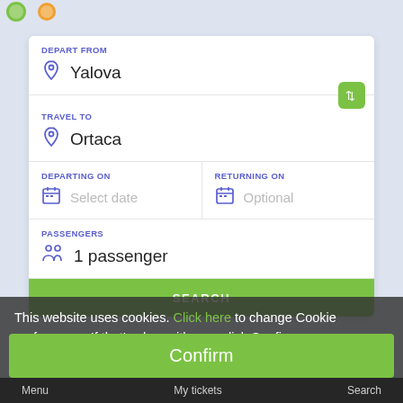[Figure (screenshot): Green logo icons at top of mobile app page]
DEPART FROM
Yalova
TRAVEL TO
Ortaca
DEPARTING ON
Select date
RETURNING ON
Optional
PASSENGERS
1 passenger
SEARCH
This website uses cookies. Click here to change Cookie preferences. If that's okay with you, click Confirm.
Confirm
Menu   My tickets   Search